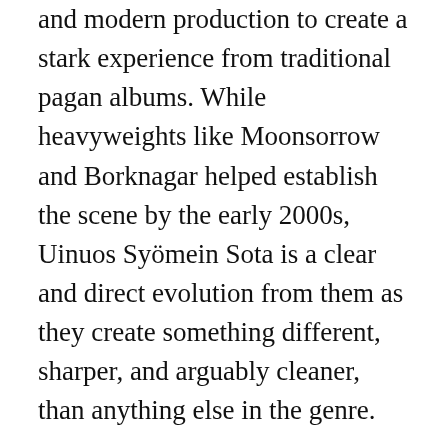and modern production to create a stark experience from traditional pagan albums. While heavyweights like Moonsorrow and Borknagar helped establish the scene by the early 2000s, Uinuos Syömein Sota is a clear and direct evolution from them as they create something different, sharper, and arguably cleaner, than anything else in the genre.
With each song managing to stand out a bit different from the last, each one still manages to have standout moments. From the battery of percussion in Ja Viimein On Yö, to the ripping melodic guitar solos in Vähiin Päivät Käy, the ambient electronic atmosphere in the finale of Tikti Vi La Hennin, to the chilling and...